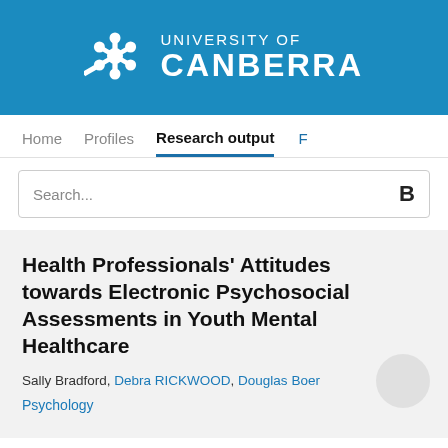[Figure (logo): University of Canberra logo: snowflake/gear icon in white on blue background with text 'UNIVERSITY OF CANBERRA']
Home   Profiles   Research output   F
Search...
Health Professionals' Attitudes towards Electronic Psychosocial Assessments in Youth Mental Healthcare
Sally Bradford, Debra RICKWOOD, Douglas Boer
Psychology